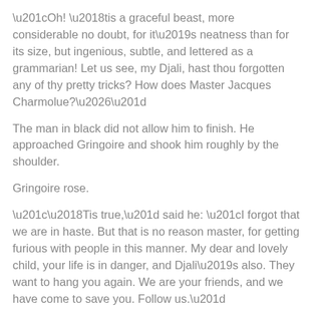“Oh! ’tis a graceful beast, more considerable no doubt, for it’s neatness than for its size, but ingenious, subtle, and lettered as a grammarian! Let us see, my Djali, hast thou forgotten any of thy pretty tricks? How does Master Jacques Charmolue?…”
The man in black did not allow him to finish. He approached Gringoire and shook him roughly by the shoulder.
Gringoire rose.
“’Tis true,” said he: “I forgot that we are in haste. But that is no reason master, for getting furious with people in this manner. My dear and lovely child, your life is in danger, and Djali’s also. They want to hang you again. We are your friends, and we have come to save you. Follow us.”
“Is it true?” she exclaimed in dismay.
“Yes, perfectly true. Come quickly!”
“I am willing,” she stammered. “But why does not your friend speak?”